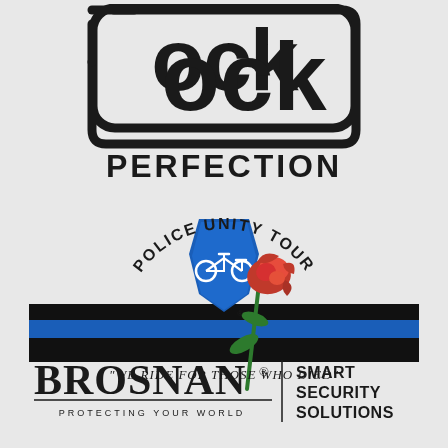[Figure (logo): Glock logo — stylized 'Glock' wordmark inside a rounded rectangle outline, with the word PERFECTION below in bold black capital letters]
[Figure (logo): Police Unity Tour logo — circular text 'POLICE UNITY TOUR' around a blue police shield with a bicycle icon and a red rose overlapping; black bar with blue stripe through middle; tagline 'WE RIDE FOR THOSE WHO DIED' at bottom]
[Figure (logo): Brosnan Smart Security Solutions logo — BROSNAN in large serif font with 'PROTECTING YOUR WORLD' below and a vertical rule dividing 'SMART SECURITY SOLUTIONS' on the right]